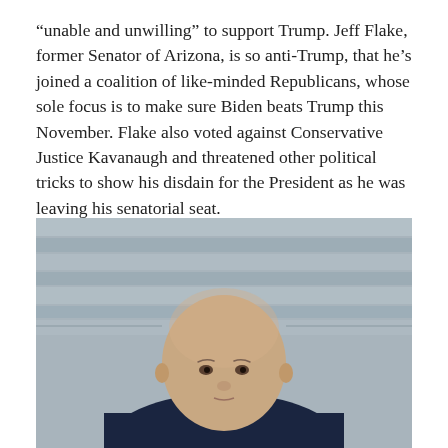“unable and unwilling” to support Trump. Jeff Flake, former Senator of Arizona, is so anti-Trump, that he’s joined a coalition of like-minded Republicans, whose sole focus is to make sure Biden beats Trump this November. Flake also voted against Conservative Justice Kavanaugh and threatened other political tricks to show his disdain for the President as he was leaving his senatorial seat.
[Figure (photo): Portrait photo of a bald man in a dark suit with a white shirt, looking directly at the camera. Background shows horizontal wooden planks in muted gray tones.]